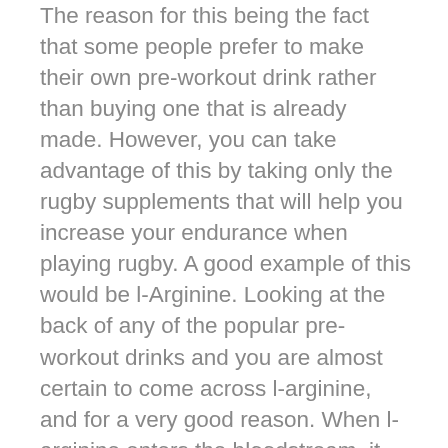The reason for this being the fact that some people prefer to make their own pre-workout drink rather than buying one that is already made. However, you can take advantage of this by taking only the rugby supplements that will help you increase your endurance when playing rugby. A good example of this would be l-Arginine. Looking at the back of any of the popular pre-workout drinks and you are almost certain to come across l-arginine, and for a very good reason. When l-arginine enters the bloodstream, it helps increase the size of your veins (much like nitrous oxide, more on it later), which, in turn, helps deliver more oxygen to your muscles. Making sure your muscles have an ample supply of oxygen is one of the most important things to do to help fight fatigue and